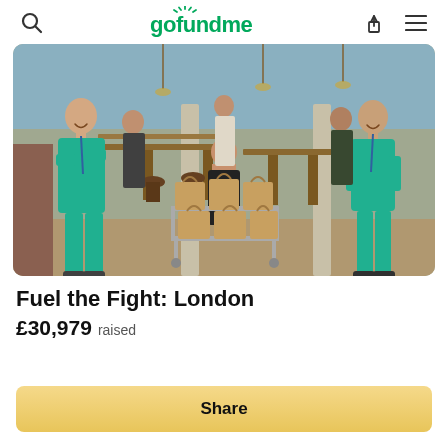gofundme
[Figure (photo): Group photo in a restaurant/cafe setting. Two healthcare workers in teal/green scrubs stand on the left and right sides. In the center, a woman in black sits behind a metal cart loaded with paper bags. Behind them, three restaurant staff in aprons stand at tables.]
Fuel the Fight: London
£30,979 raised
Share